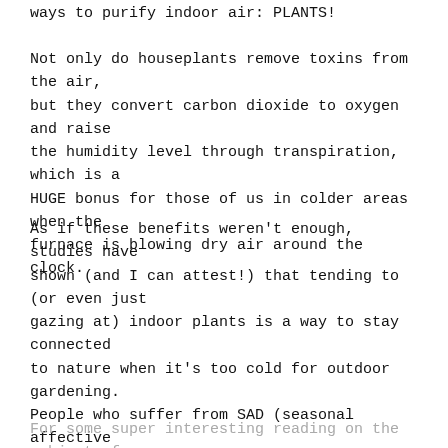ways to purify indoor air: PLANTS!
Not only do houseplants remove toxins from the air, but they convert carbon dioxide to oxygen and raise the humidity level through transpiration, which is a HUGE bonus for those of us in colder areas when the furnace is blowing dry air around the clock.
As if these benefits weren't enough, studies have shown (and I can attest!) that tending to (or even just gazing at) indoor plants is a way to stay connected to nature when it's too cold for outdoor gardening. People who suffer from SAD (seasonal affective disorder, aka the winter blues) report feeling calmer and happier when surrounded by indoor plants. And then there are the studies showing improved thinking skills, memory and increased job performance...
For some super interesting reading on the subject of